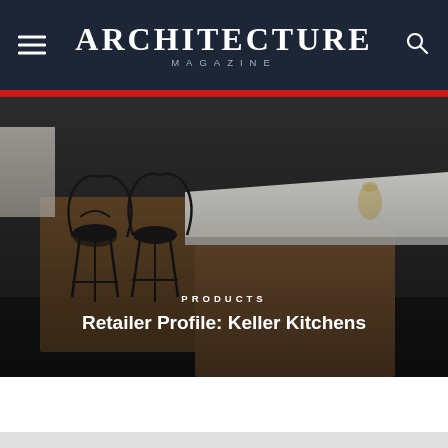ARCHITECTURE MAGAZINE
[Figure (photo): Kitchen interior photograph showing a modern kitchen island with white countertop, walnut wood cabinetry, and bar stools in dark background]
PRODUCTS
Retailer Profile: Keller Kitchens